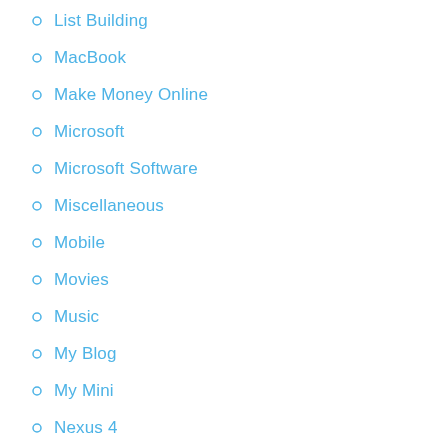List Building
MacBook
Make Money Online
Microsoft
Microsoft Software
Miscellaneous
Mobile
Movies
Music
My Blog
My Mini
Nexus 4
OS X
Other Apps
Paper Models
Phones
Plugins
Politics
Project Journal
Projects
Reviews
SEO
Site Creation